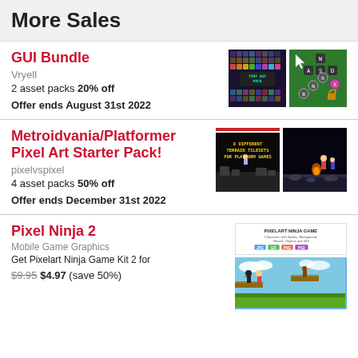More Sales
GUI Bundle
Vryell
2 asset packs 20% off
Offer ends August 31st 2022
[Figure (illustration): Tiny GUI Pack pixel art tileset preview - colorful grid of UI tiles]
[Figure (illustration): Green background with gamepad button layout icons]
Metroidvania/Platformer Pixel Art Starter Pack!
pixelvspixel
4 asset packs 50% off
Offer ends December 31st 2022
[Figure (illustration): 8 Different Terrain Tilesets For Platform Games - dark cave/terrain tileset]
[Figure (illustration): Metroidvania character on dark platform scene]
Pixel Ninja 2
Mobile Game Graphics
Get Pixelart Ninja Game Kit 2 for $9.95 $4.97 (save 50%)
[Figure (illustration): Pixelart Ninja Game - Characters with Sprites, Background, Tilesets, Objects and GUI. JPG, GIF, PNG, PSD format badges shown. Pixel art platform game scene preview.]